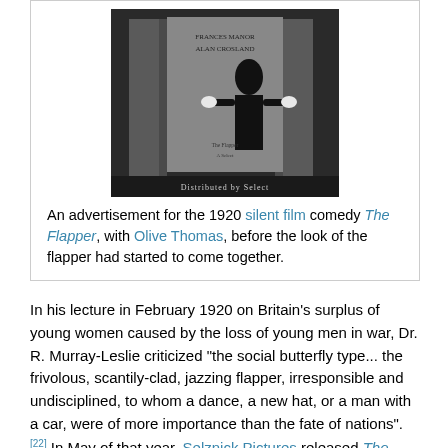[Figure (photo): An old black and white photograph/advertisement showing a person in formal attire standing next to a large stone or board. Text at top reads 'FRANCES MANOR ALAN CROSLAND' and bottom reads 'Distributed by Select'.]
An advertisement for the 1920 silent film comedy The Flapper, with Olive Thomas, before the look of the flapper had started to come together.
In his lecture in February 1920 on Britain's surplus of young women caused by the loss of young men in war, Dr. R. Murray-Leslie criticized "the social butterfly type... the frivolous, scantily-clad, jazzing flapper, irresponsible and undisciplined, to whom a dance, a new hat, or a man with a car, were of more importance than the fate of nations".[22] In May of that year, Selznick Pictures released The Flapper a silent comedy film starring Olive Tho...